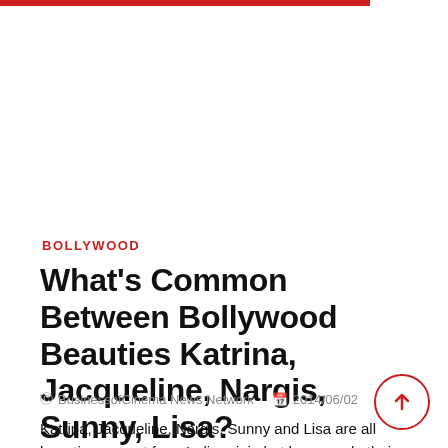BOLLYWOOD
What's Common Between Bollywood Beauties Katrina, Jacqueline, Nargis, Sunny, Lisa?
BusinessofCinema News Network   2014/06/02
Katrina, Jacqueline, Nargis, Sunny and Lisa are all beauties are not from India origin but have made their mark in